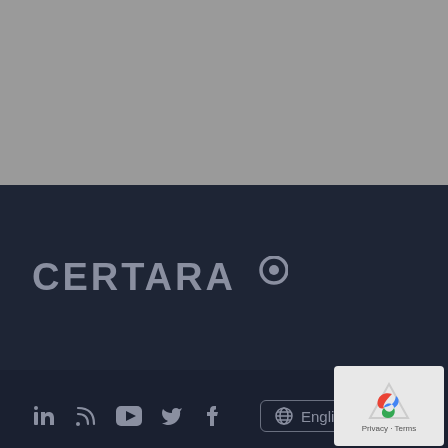[Figure (logo): Certara logo in gray on dark background]
[Figure (infographic): Social media icons row: LinkedIn, blog/RSS, YouTube, Twitter, Facebook; English language selector button; scroll-to-top circular button with teal arrow]
Privacy Center
Legal
[Figure (logo): Google reCAPTCHA badge with Privacy and Terms links]